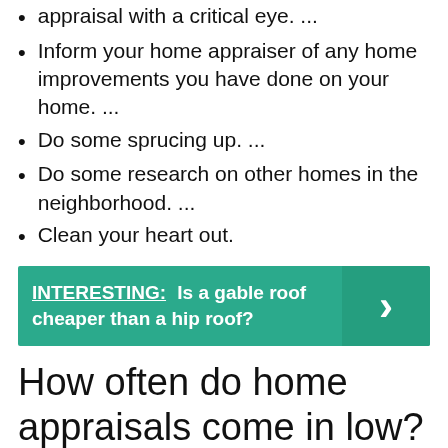appraisal with a critical eye. ...
Inform your home appraiser of any home improvements you have done on your home. ...
Do some sprucing up. ...
Do some research on other homes in the neighborhood. ...
Clean your heart out.
[Figure (infographic): Teal banner with bold text 'INTERESTING: Is a gable roof cheaper than a hip roof?' and a chevron arrow on the right side.]
How often do home appraisals come in low?
How often do home appraisals come in low? Low home appraisals do not occur often.